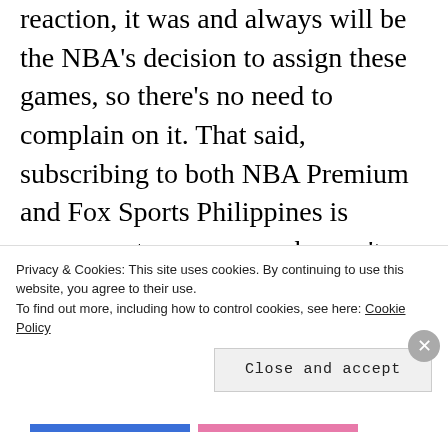reaction, it was and always will be the NBA's decision to assign these games, so there's no need to complain on it. That said, subscribing to both NBA Premium and Fox Sports Philippines is necessary to everyone who can't stand BTV's coverage.
If not, just endure the Taglish coverage of ABS-CBN Sports for this year's playoffs. Good luck with
Privacy & Cookies: This site uses cookies. By continuing to use this website, you agree to their use.
To find out more, including how to control cookies, see here: Cookie Policy
Close and accept